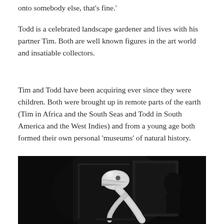onto somebody else, that's fine.'
Todd is a celebrated landscape gardener and lives with his partner Tim. Both are well known figures in the art world and insatiable collectors.
Tim and Todd have been acquiring ever since they were children. Both were brought up in remote parts of the earth (Tim in Africa and the South Seas and Todd in South America and the West Indies) and from a young age both formed their own personal 'museums' of natural history.
[Figure (photo): Dark photograph of what appears to be a white bird skull or skeletal remains mounted on a stand, displayed against a dark background with a framed picture visible behind it.]